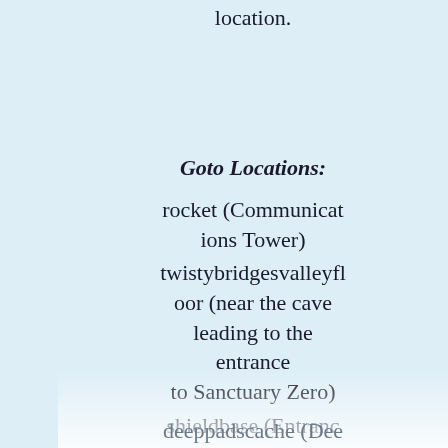location.
Goto Locations:
rocket (Communications Tower)
twistybridgesvalleyfloor (near the cave leading to the entrance to Sanctuary Zero)
shieldbase (Entrance to the Architect Gate Base)
deeppadscache (Dee